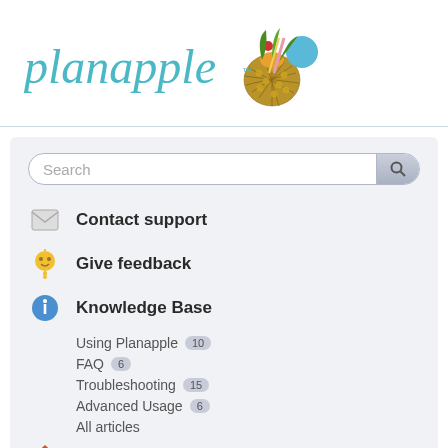[Figure (logo): Planapple logo with teal italic text and a pineapple cocktail illustration]
Contact support
Give feedback
Knowledge Base
Using Planapple 10
FAQ 6
Troubleshooting 15
Advanced Usage 6
All articles